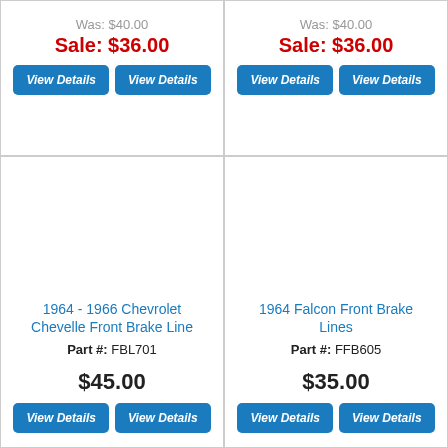Was: $40.00
Sale: $36.00
View Details | View Details
Was: $40.00
Sale: $36.00
View Details | View Details
1964 - 1966 Chevrolet Chevelle Front Brake Line
Part #: FBL701
$45.00
View Details | View Details
1964 Falcon Front Brake Lines
Part #: FFB605
$35.00
View Details | View Details